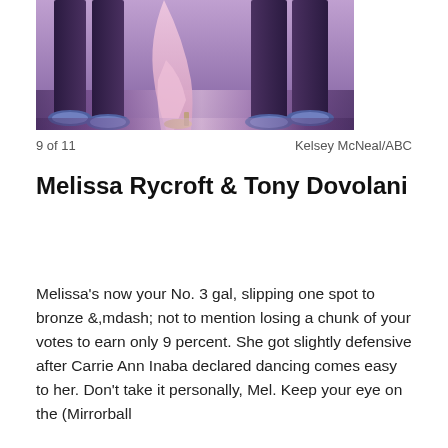[Figure (photo): Cropped photo showing the lower bodies and feet of two ballroom dancers — one in dark purple/black trousers with silver-tipped shoes, another in a pink dress with beige heeled shoes — on a dance floor with purple/pink stage lighting.]
9 of 11                                                    Kelsey McNeal/ABC
Melissa Rycroft & Tony Dovolani
Melissa's now your No. 3 gal, slipping one spot to bronze &,mdash; not to mention losing a chunk of your votes to earn only 9 percent. She got slightly defensive after Carrie Ann Inaba declared dancing comes easy to her. Don't take it personally, Mel. Keep your eye on the (Mirrorball...